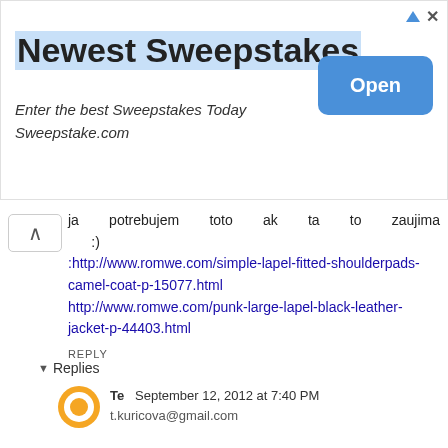[Figure (screenshot): Advertisement banner for 'Newest Sweepstakes' with Open button]
ja potrebujem toto ak ta to zaujima :) :http://www.romwe.com/simple-lapel-fitted-shoulderpads-camel-coat-p-15077.html http://www.romwe.com/punk-large-lapel-black-leather-jacket-p-44403.html
REPLY
Replies
Te  September 12, 2012 at 7:40 PM
t.kuricova@gmail.com
Reply
Yoko Nguyen  September 12, 2012 at 9:46 PM